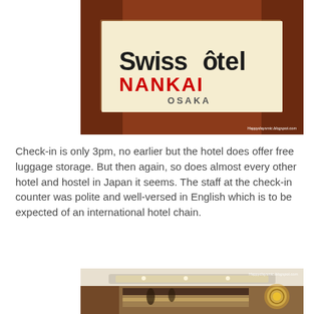[Figure (photo): Photo of Swissôtel Nankai Osaka hotel signage — a large cream/white sign with black text 'Swissôtel' and red text 'NANKAI', and 'OSAKA' below, mounted on a reddish-brown marble wall. Watermark: Happydaysmic.blogspot.com]
Check-in is only 3pm, no earlier but the hotel does offer free luggage storage. But then again, so does almost every other hotel and hostel in Japan it seems. The staff at the check-in counter was polite and well-versed in English which is to be expected of an international hotel chain.
[Figure (photo): Photo of the hotel lobby/reception area with warm lighting, a reception desk, and decorative chandelier visible on the right. Watermark: Happydaysmic.blogspot.com]